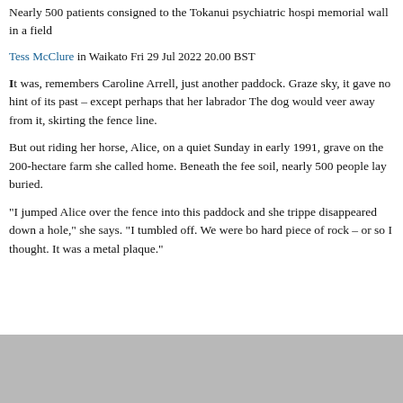Nearly 500 patients consigned to the Tokanui psychiatric hospital memorial wall in a field
Tess McClure in Waikato Fri 29 Jul 2022 20.00 BST
It was, remembers Caroline Arrell, just another paddock. Grazed under open sky, it gave no hint of its past – except perhaps that her labrador wouldn't cross it. The dog would veer away from it, skirting the fence line.
But out riding her horse, Alice, on a quiet Sunday in early 1991, she discovered a grave on the 200-hectare farm she called home. Beneath the feet, beneath the soil, nearly 500 people lay buried.
“I jumped Alice over the fence into this paddock and she tripped and disappeared down a hole,” she says. “I tumbled off. We were both lying on a hard piece of rock – or so I thought. It was a metal plaque.”
[Figure (photo): Bottom portion of a grey/silver photograph, partially visible at the bottom of the page]